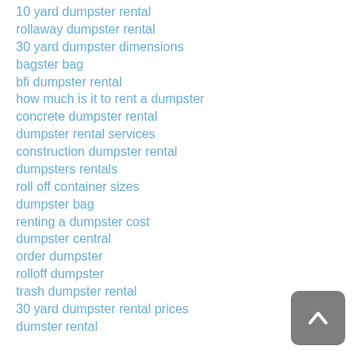10 yard dumpster rental
rollaway dumpster rental
30 yard dumpster dimensions
bagster bag
bfi dumpster rental
how much is it to rent a dumpster
concrete dumpster rental
dumpster rental services
construction dumpster rental
dumpsters rentals
roll off container sizes
dumpster bag
renting a dumpster cost
dumpster central
order dumpster
rolloff dumpster
trash dumpster rental
30 yard dumpster rental prices
dumster rental